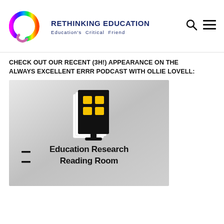[Figure (logo): Rethinking Education logo: colorful circular arc (rainbow gradient) forming a ring, open at bottom-left, with brand name and tagline to the right]
RETHINKING EDUCATION
Education's Critical Friend
CHECK OUT OUR RECENT (3H!) APPEARANCE ON THE ALWAYS EXCELLENT ERRR PODCAST WITH OLLIE LOVELL:
[Figure (screenshot): Education Research Reading Room podcast logo: a book-shaped building with yellow windows on a grey gradient background, with text 'Education Research Reading Room' in bold black below the icon]